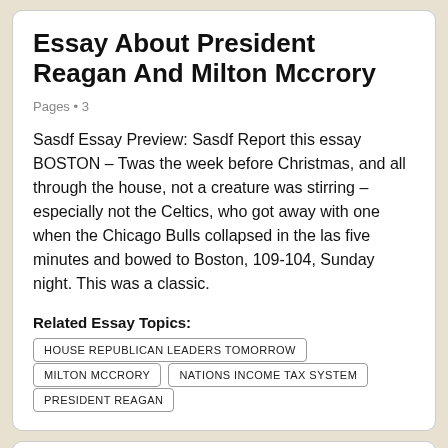Essay About President Reagan And Milton Mccrory
Pages • 3
Sasdf Essay Preview: Sasdf Report this essay BOSTON – Twas the week before Christmas, and all through the house, not a creature was stirring – especially not the Celtics, who got away with one when the Chicago Bulls collapsed in the las five minutes and bowed to Boston, 109-104, Sunday night. This was a classic.
Related Essay Topics:
HOUSE REPUBLICAN LEADERS TOMORROW
MILTON MCCRORY
NATIONS INCOME TAX SYSTEM
PRESIDENT REAGAN
Essay About College Football And